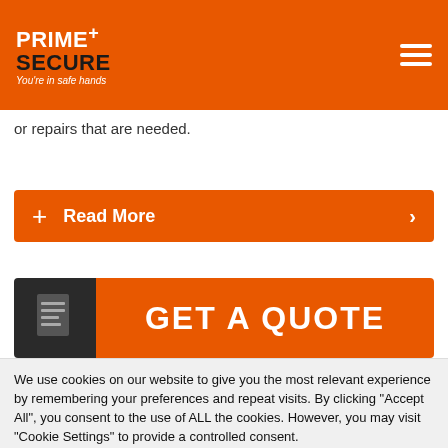Prime+ Secure — You're in safe hands
or repairs that are needed.
Read More
[Figure (screenshot): GET A QUOTE banner with document icon on dark background and orange text area]
We use cookies on our website to give you the most relevant experience by remembering your preferences and repeat visits. By clicking "Accept All", you consent to the use of ALL the cookies. However, you may visit "Cookie Settings" to provide a controlled consent.